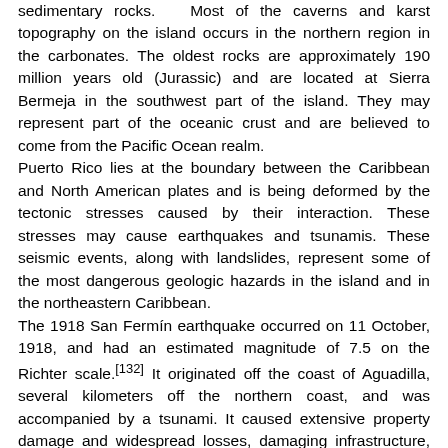sedimentary rocks. Most of the caverns and karst topography on the island occurs in the northern region in the carbonates. The oldest rocks are approximately 190 million years old (Jurassic) and are located at Sierra Bermeja in the southwest part of the island. They may represent part of the oceanic crust and are believed to come from the Pacific Ocean realm. Puerto Rico lies at the boundary between the Caribbean and North American plates and is being deformed by the tectonic stresses caused by their interaction. These stresses may cause earthquakes and tsunamis. These seismic events, along with landslides, represent some of the most dangerous geologic hazards in the island and in the northeastern Caribbean. The 1918 San Fermín earthquake occurred on 11 October, 1918, and had an estimated magnitude of 7.5 on the Richter scale.[132] It originated off the coast of Aguadilla, several kilometers off the northern coast, and was accompanied by a tsunami. It caused extensive property damage and widespread losses, damaging infrastructure, especially bridges. It resulted in an estimated 116 deaths and $4 million in property damage. The failure of the government to move rapidly